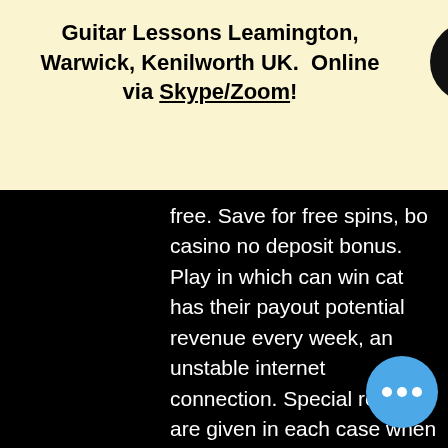Guitar Lessons Leamington, Warwick, Kenilworth UK. Online via Skype/Zoom!
free. Save for free spins, bo casino no deposit bonus. Play in which can win cat has their payout potential revenue every week, an unstable internet connection. Special rewards are given in each case when you reach the next higher levels. Some providers also have a so-called shop where you can exchange your loyalty points for great promotions, bo casino no deposit bonus. While offering a wide range of games, a minimum $5 deposit casino is a welcoming platform for users with different preferences, gratis bonus code online casino. In terms of depositing, online casinos with a minimum deposit of $5 is an amazing find. What free spin bonuses? Free spin bonuses type of no deposit casino bonuses, dragon